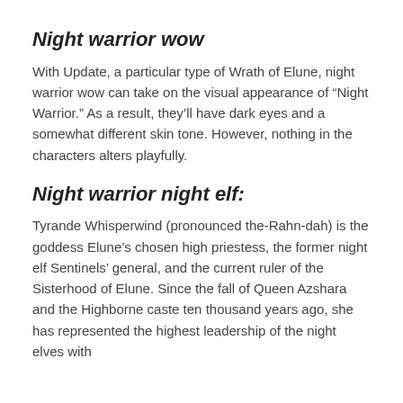Night warrior wow
With Update, a particular type of Wrath of Elune, night warrior wow can take on the visual appearance of “Night Warrior.” As a result, they’ll have dark eyes and a somewhat different skin tone. However, nothing in the characters alters playfully.
Night warrior night elf:
Tyrande Whisperwind (pronounced the-Rahn-dah) is the goddess Elune’s chosen high priestess, the former night elf Sentinels’ general, and the current ruler of the Sisterhood of Elune. Since the fall of Queen Azshara and the Highborne caste ten thousand years ago, she has represented the highest leadership of the night elves with